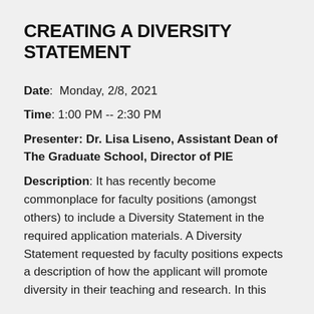CREATING A DIVERSITY STATEMENT
Date:  Monday, 2/8, 2021
Time: 1:00 PM -- 2:30 PM
Presenter: Dr. Lisa Liseno, Assistant Dean of The Graduate School, Director of PIE
Description: It has recently become commonplace for faculty positions (amongst others) to include a Diversity Statement in the required application materials. A Diversity Statement requested by faculty positions expects a description of how the applicant will promote diversity in their teaching and research. In this